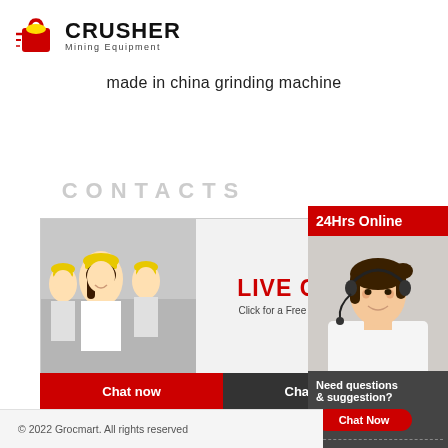[Figure (logo): Crusher Mining Equipment logo with red shopping bag icon with hard hat and bold CRUSHER text]
made in china grinding machine
CONTACTS
[Figure (other): Live Chat popup with workers in hard hats, LIVE CHAT text, Click for a Free Consultation, Chat now and Chat later buttons]
[Figure (photo): Woman with headset smiling, customer service agent]
24Hrs Online
Need questions & suggestion?
Chat Now
Enquiry
limingjlmofen@sina.com
limingjlmofen@sina.com
© 2022 Grocmart. All rights reserved